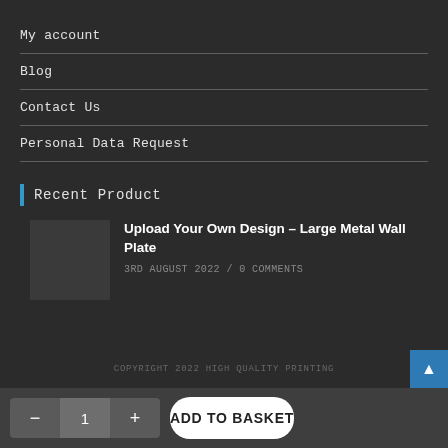My account
Blog
Contact Us
Personal Data Request
Recent Product
Upload Your Own Design – Large Metal Wall Plate
3RD AUGUST 2022 / 0 COMMENTS
COPYRIGHT 2022 HIGH QUALITY PRINTING
- 1 + ADD TO BASKET